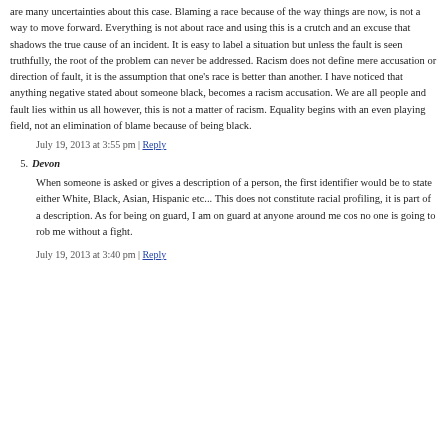are many uncertainties about this case. Blaming a race because of the way things are now, is not a way to move forward. Everything is not about race and using this is a crutch and an excuse that shadows the true cause of an incident. It is easy to label a situation but unless the fault is seen truthfully, the root of the problem can never be addressed. Racism does not define mere accusation or direction of fault, it is the assumption that one's race is better than another. I have noticed that anything negative stated about someone black, becomes a racism accusation. We are all people and fault lies within us all however, this is not a matter of racism. Equality begins with an even playing field, not an elimination of blame because of being black.
July 19, 2013 at 3:55 pm | Reply
5. Devon
When someone is asked or gives a description of a person, the first identifier would be to state either White, Black, Asian, Hispanic etc... This does not constitute racial profiling, it is part of a description. As for being on guard, I am on guard at anyone around me cos no one is going to rob me without a fight.
July 19, 2013 at 3:40 pm | Reply